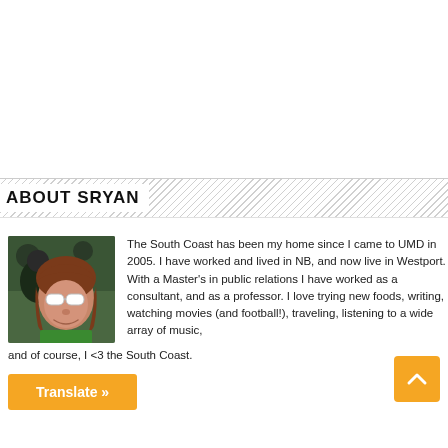ABOUT SRYAN
[Figure (photo): Profile photo of sryan — a woman with brown hair wearing white round sunglasses, smiling, in a crowd setting with green visible clothing]
The South Coast has been my home since I came to UMD in 2005. I have worked and lived in NB, and now live in Westport. With a Master's in public relations I have worked as a consultant, and as a professor. I love trying new foods, writing, watching movies (and football!), traveling, listening to a wide array of music, and of course, I <3 the South Coast.